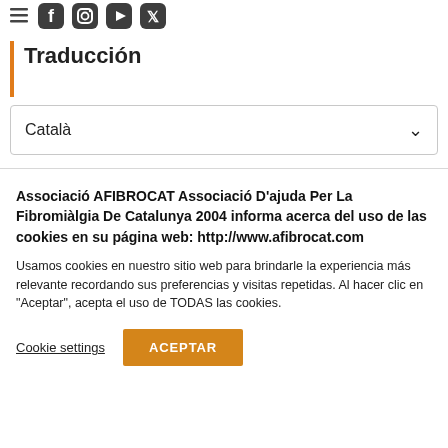[Figure (illustration): Social media icons: hamburger menu, Facebook, Instagram, YouTube, Twitter]
Traducción
Català
Associació AFIBROCAT Associació D'ajuda Per La Fibromiàlgia De Catalunya 2004 informa acerca del uso de las cookies en su página web: http://www.afibrocat.com
Usamos cookies en nuestro sitio web para brindarle la experiencia más relevante recordando sus preferencias y visitas repetidas. Al hacer clic en "Aceptar", acepta el uso de TODAS las cookies.
Cookie settings
ACEPTAR